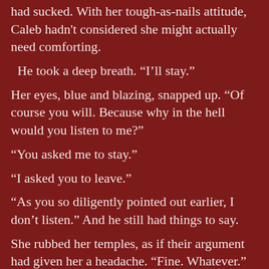had sucked. With her tough-as-nails attitude, Caleb hadn't considered she might actually need comforting.
He took a deep breath. “I’ll stay.”
Her eyes, blue and blazing, snapped up. “Of course you will. Because why in the hell would you listen to me?”
“You asked me to stay.”
“I asked you to leave.”
“As you so diligently pointed out earlier, I don’t listen.” And he still had things to say.
She rubbed her temples, as if their argument had given her a headache. “Fine. Whatever.”
“Samantha. Look at me.” When she didn’t move, he crouched in front of her. He tilted her chin until she looked at him. “I don’t dislike you. I need you to know that.”